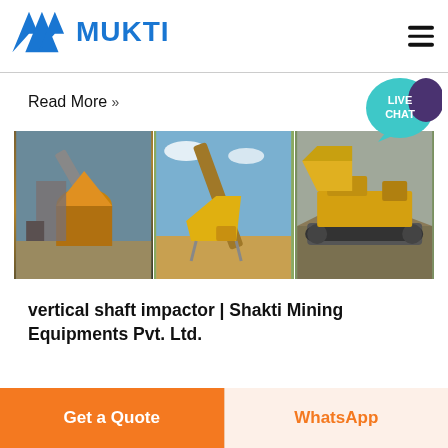[Figure (logo): Mukti company logo with blue M-shape icon and blue bold MUKTI text]
[Figure (photo): Three side-by-side photos of mining/crushing equipment including cone crusher, conveyor system with yellow machinery, and tracked mobile crusher on site]
Read More »
vertical shaft impactor | Shakti Mining Equipments Pvt. Ltd.
Vertical Shaft Impactor Posted on: October 30, 2018